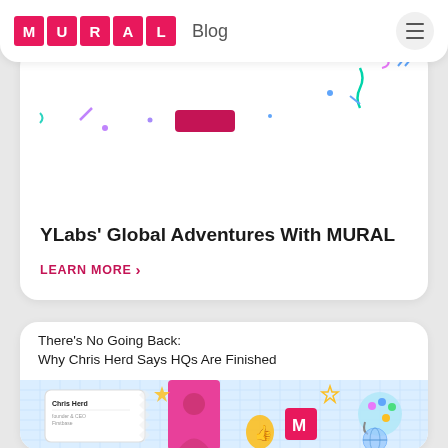MURAL Blog
[Figure (screenshot): Decorative confetti elements with colorful shapes scattered on white card background]
YLabs' Global Adventures With MURAL
LEARN MORE >
[Figure (illustration): Blog card showing article: There's No Going Back: Why Chris Herd Says HQs Are Finished, with illustration of Chris Herd profile card, photo, thumbs up, MURAL logo block, paint palette, and globe]